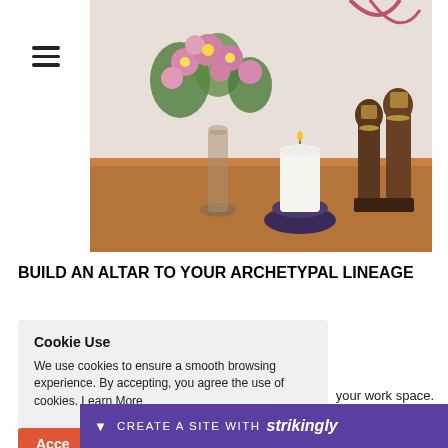[Figure (photo): Photo of a floral arrangement in a glass vase with pink flowers, a white pillar candle on a dark candle holder, and two wooden African figurines, all placed on a wooden surface.]
BUILD AN ALTAR TO YOUR ARCHETYPAL LINEAGE
Cookie Use
We use cookies to ensure a smooth browsing experience. By accepting, you agree the use of cookies. Learn More
your work space.
Code
ARCHLI
CREATE A SITE WITH strikingly